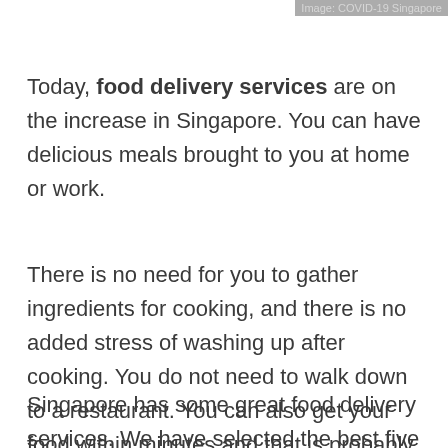Image: COVID-19 Singapore
Today, food delivery services are on the increase in Singapore. You can have delicious meals brought to you at home or work.
There is no need for you to gather ingredients for cooking, and there is no added stress of washing up after cooking. You do not need to walk down to a restaurant. You can also get your food within minutes and that is probably less than the time it will take for you to cook a meal yourself.
Singapore has some great food delivery services. We have selected the best five for you so making a choice won't be a